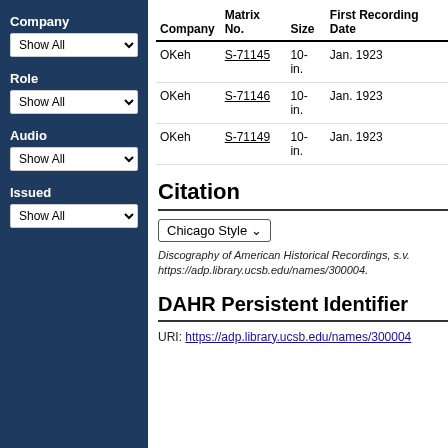Company
Show All (dropdown)
Role
Show All (dropdown)
Audio
Show All (dropdown)
Issued
Show All (dropdown)
| Company | Matrix No. | Size | First Recording Date |
| --- | --- | --- | --- |
| OKeh | S-71145 | 10-in. | Jan. 1923 |
| OKeh | S-71146 | 10-in. | Jan. 1923 |
| OKeh | S-71149 | 10-in. | Jan. 1923 |
Citation
Discography of American Historical Recordings, s.v. https://adp.library.ucsb.edu/names/300004.
DAHR Persistent Identifier
URI: https://adp.library.ucsb.edu/names/300004